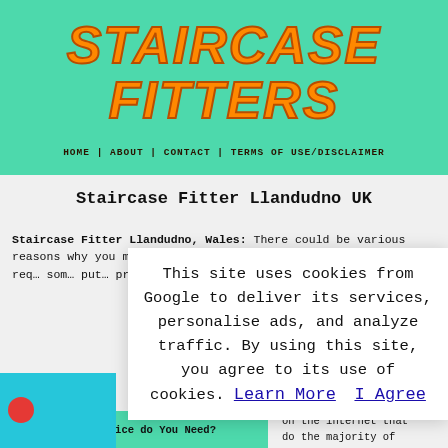STAIRCASE FITTERS
HOME | ABOUT | CONTACT | TERMS OF USE/DISCLAIMER
Staircase Fitter Llandudno UK
Staircase Fitter Llandudno, Wales: There could be various reasons why you might be hunting for a local Llandudno sta... req... som... put... pro... arr... sta... con... bec... who... wha...
This site uses cookies from Google to deliver its services, personalise ads, and analyze traffic. By using this site, you agree to its use of cookies. Learn More   I Agree
What Type of Service do You Need?
on the internet that do the majority of